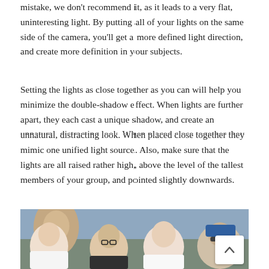mistake, we don't recommend it, as it leads to a very flat, uninteresting light. By putting all of your lights on the same side of the camera, you'll get a more defined light direction, and create more definition in your subjects.
Setting the lights as close together as you can will help you minimize the double-shadow effect. When lights are further apart, they each cast a unique shadow, and create an unnatural, distracting look. When placed close together they mimic one unified light source. Also, make sure that the lights are all raised rather high, above the level of the tallest members of your group, and pointed slightly downwards.
[Figure (photo): Group photo of four smiling people at an outdoor event. From left to right: a man in a white shirt, a person with glasses in a dark shirt, a man in a white shirt, and a person wearing a blue cap and sunglasses. There is a back-to-top navigation button overlaid in the bottom right corner.]